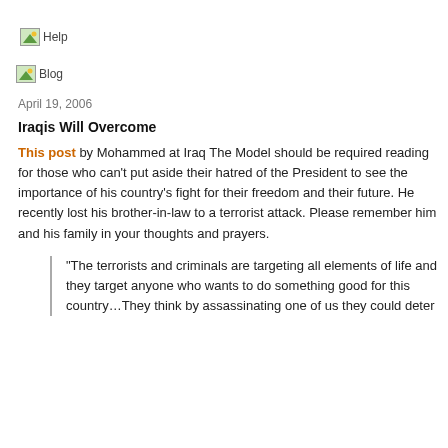[Figure (other): Broken image placeholder labeled 'Help']
[Figure (other): Broken image placeholder labeled 'Blog']
April 19, 2006
Iraqis Will Overcome
This post by Mohammed at Iraq The Model should be required reading for those who can't put aside their hatred of the President to see the importance of his country's fight for their freedom and their future. He recently lost his brother-in-law to a terrorist attack. Please remember him and his family in your thoughts and prayers.
"The terrorists and criminals are targeting all elements of life and they target anyone who wants to do something good for this country…They think by assassinating one of us they could deter